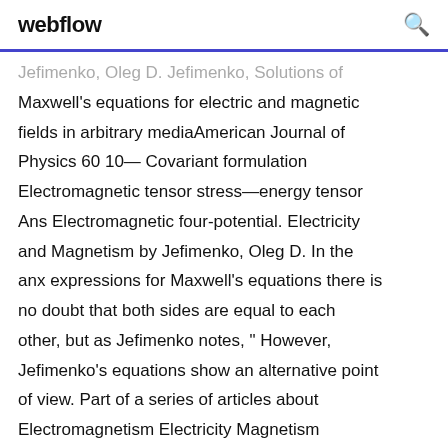webflow
Jefimenko, Oleg D. Jefimenko, Solutions of Maxwell's equations for electric and magnetic fields in arbitrary mediaAmerican Journal of Physics 60 10— Covariant formulation Electromagnetic tensor stress—energy tensor Ans Electromagnetic four-potential. Electricity and Magnetism by Jefimenko, Oleg D. In the anx expressions for Maxwell's equations there is no doubt that both sides are equal to each other, but as Jefimenko notes, " However, Jefimenko's equations show an alternative point of view. Part of a series of articles about Electromagnetism Electricity Magnetism Electrostatics.